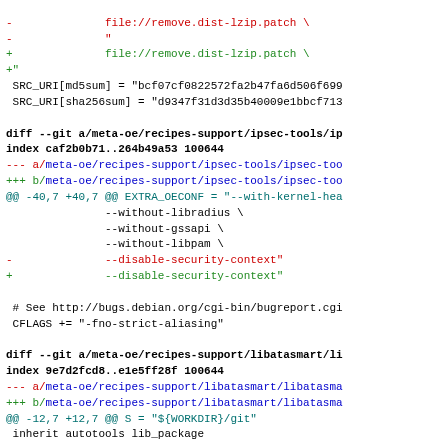diff patch file listing showing changes to ipsec-tools and libatasmart recipes